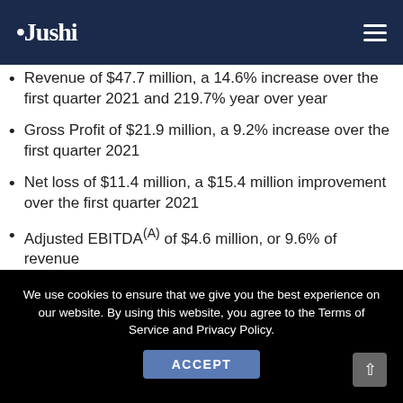Jushi
Revenue of $47.7 million, a 14.6% increase over the first quarter 2021 and 219.7% year over year
Gross Profit of $21.9 million, a 9.2% increase over the first quarter 2021
Net loss of $11.4 million, a $15.4 million improvement over the first quarter 2021
Adjusted EBITDA(A) of $4.6 million, or 9.6% of revenue
We use cookies to ensure that we give you the best experience on our website. By using this website, you agree to the Terms of Service and Privacy Policy.